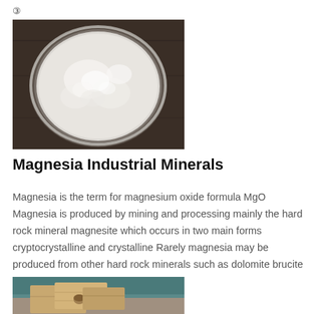③
[Figure (photo): White powder (magnesia/magnesium oxide) in a glass petri dish on a dark wooden surface]
Magnesia Industrial Minerals
Magnesia is the term for magnesium oxide formula MgO Magnesia is produced by mining and processing mainly the hard rock mineral magnesite which occurs in two main forms cryptocrystalline and crystalline Rarely magnesia may be produced from other hard rock minerals such as dolomite brucite huntite and serpentinite
[Figure (photo): Refractory bricks made from magnesia, stacked on a surface with industrial background]